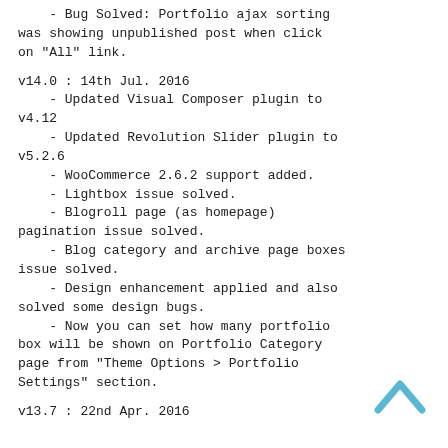- Bug Solved: Portfolio ajax sorting was showing unpublished post when click on "All" link.
v14.0 : 14th Jul. 2016
- Updated Visual Composer plugin to v4.12
- Updated Revolution Slider plugin to v5.2.6
- WooCommerce 2.6.2 support added.
- Lightbox issue solved.
- Blogroll page (as homepage) pagination issue solved.
- Blog category and archive page boxes issue solved.
- Design enhancement applied and also solved some design bugs.
- Now you can set how many portfolio box will be shown on Portfolio Category page from "Theme Options > Portfolio Settings" section.
v13.7 : 22nd Apr. 2016